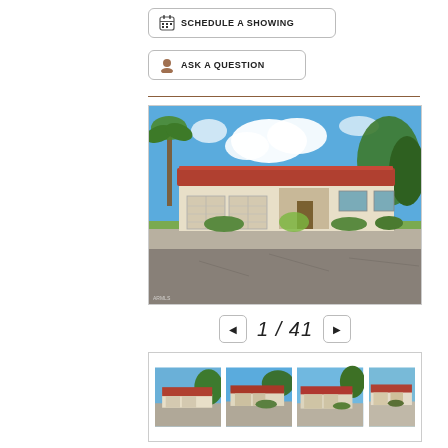SCHEDULE A SHOWING
ASK A QUESTION
[Figure (photo): Exterior photo of a single-story ranch-style home with red tile roof, three-car garage, desert landscaping, palm tree on left, large trees on right, blue sky with white clouds]
1 / 41
[Figure (photo): Thumbnail strip showing 4 exterior photos of the same property from slightly different angles]